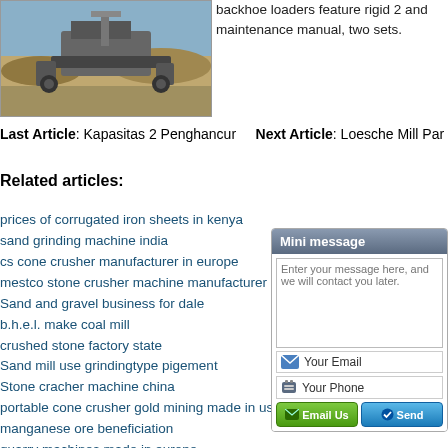[Figure (photo): Outdoor construction/mining site with heavy machinery and excavated earth]
backhoe loaders feature rigid 2 and maintenance manual, two sets.
Last Article: Kapasitas 2 Penghancur   Next Article: Loesche Mill Par
Related articles:
prices of corrugated iron sheets in kenya
sand grinding machine india
cs cone crusher manufacturer in europe
mestco stone crusher machine manufacturer
Sand and gravel business for dale
b.h.e.l. make coal mill
crushed stone factory state
Sand mill use grindingtype pigement
Stone cracher machine china
portable cone crusher gold mining made in us
manganese ore beneficiation
quarry machines made in europe
free sample mining business plan